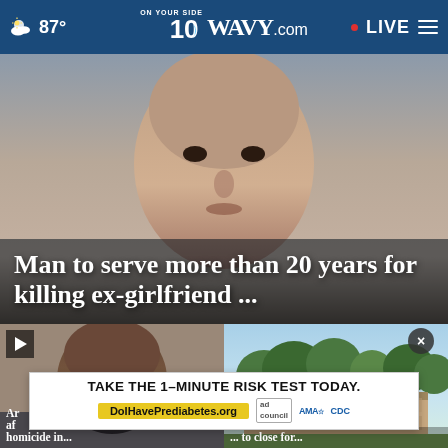87° WAVY.com ON YOUR SIDE LIVE
[Figure (photo): Close-up mugshot of a man, hero news image]
Man to serve more than 20 years for killing ex-girlfriend ...
[Figure (photo): Mugshot of a Black man with dreadlocks, news thumbnail with play button]
[Figure (photo): Exterior photo of a brick building with trees, news thumbnail]
Ar... after... homicide in...
... to close for...
[Figure (infographic): Advertisement overlay: TAKE THE 1-MINUTE RISK TEST TODAY. DoIHavePrediabetes.org with ad, AMA, and CDC logos]